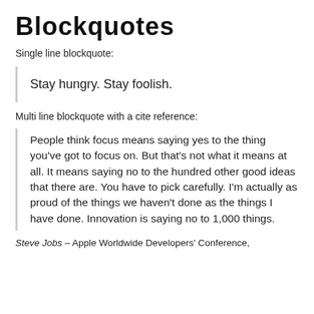Blockquotes
Single line blockquote:
Stay hungry. Stay foolish.
Multi line blockquote with a cite reference:
People think focus means saying yes to the thing you’ve got to focus on. But that’s not what it means at all. It means saying no to the hundred other good ideas that there are. You have to pick carefully. I’m actually as proud of the things we haven’t done as the things I have done. Innovation is saying no to 1,000 things.
Steve Jobs – Apple Worldwide Developers’ Conference,